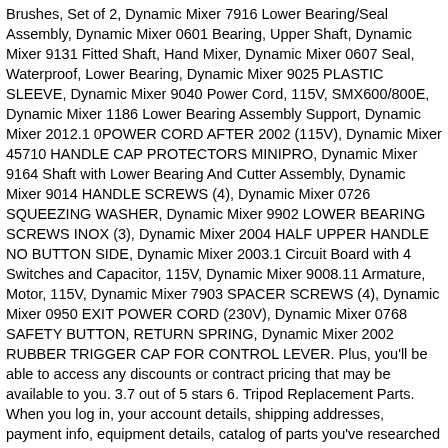Brushes, Set of 2, Dynamic Mixer 7916 Lower Bearing/Seal Assembly, Dynamic Mixer 0601 Bearing, Upper Shaft, Dynamic Mixer 9131 Fitted Shaft, Hand Mixer, Dynamic Mixer 0607 Seal, Waterproof, Lower Bearing, Dynamic Mixer 9025 PLASTIC SLEEVE, Dynamic Mixer 9040 Power Cord, 115V, SMX600/800E, Dynamic Mixer 1186 Lower Bearing Assembly Support, Dynamic Mixer 2012.1 0POWER CORD AFTER 2002 (115V), Dynamic Mixer 45710 HANDLE CAP PROTECTORS MINIPRO, Dynamic Mixer 9164 Shaft with Lower Bearing And Cutter Assembly, Dynamic Mixer 9014 HANDLE SCREWS (4), Dynamic Mixer 0726 SQUEEZING WASHER, Dynamic Mixer 9902 LOWER BEARING SCREWS INOX (3), Dynamic Mixer 2004 HALF UPPER HANDLE NO BUTTON SIDE, Dynamic Mixer 2003.1 Circuit Board with 4 Switches and Capacitor, 115V, Dynamic Mixer 9008.11 Armature, Motor, 115V, Dynamic Mixer 7903 SPACER SCREWS (4), Dynamic Mixer 0950 EXIT POWER CORD (230V), Dynamic Mixer 0768 SAFETY BUTTON, RETURN SPRING, Dynamic Mixer 2002 RUBBER TRIGGER CAP FOR CONTROL LEVER. Plus, you'll be able to access any discounts or contract pricing that may be available to you. 3.7 out of 5 stars 6. Tripod Replacement Parts. When you log in, your account details, shipping addresses, payment info, equipment details, catalog of parts you've researched and your order history are all saved for you. 2020 popular Ranking Keywords trends in Consumer Electronics, Tripods, Cellphones & Telecommunications, Home Improvement with camera tripod parts and Ranking Keywords. Strap kit for Extra Heavy Duty Quick Clamp Flat Head...